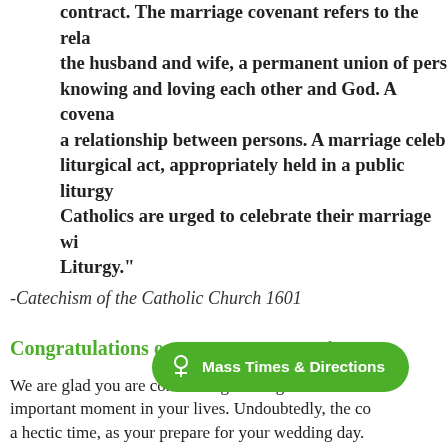contract. The marriage covenant refers to the relationship of the husband and wife, a permanent union of persons, capable of knowing and loving each other and God. A covenant is always a relationship between persons. A marriage celebrated is a liturgical act, appropriately held in a public liturgy. Catholics are urged to celebrate their marriage within the Eucharistic Liturgy."
-Catechism of the Catholic Church 1601
Congratulations on your engagement!
We are glad you are considering making St. Ambrose part of this important moment in your lives. Undoubtedly, the coming months are a hectic time, as your prepare for your wedding day.
Your wedding day will be a very special day for you, and we want to help you prepare for it as much as we can. Because the Church takes marriage so seriously, couples must prepare for marriage as they would for any sacred sacrament. St. Ambrose asks that the couple
[Figure (other): Green pill-shaped button overlay with chalice/cross icon and text 'Mass Times & Directions']